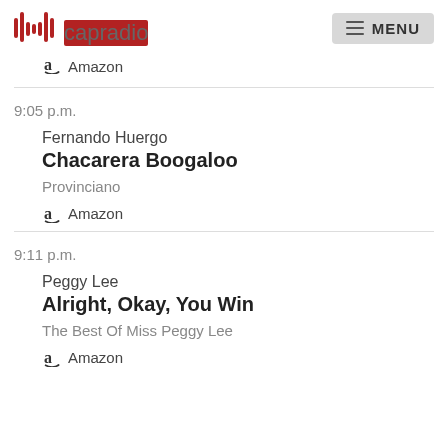capradio MENU
Amazon
9:05 p.m.
Fernando Huergo
Chacarera Boogaloo
Provinciano
Amazon
9:11 p.m.
Peggy Lee
Alright, Okay, You Win
The Best Of Miss Peggy Lee
Amazon